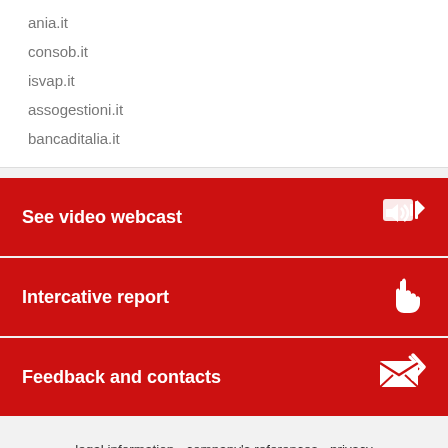ania.it
consob.it
isvap.it
assogestioni.it
bancaditalia.it
See video webcast
Intercative report
Feedback and contacts
legal information - company's references - privacy
Assicurazioni Generali S.p.A.
C.F. e P.IVA 00079760328